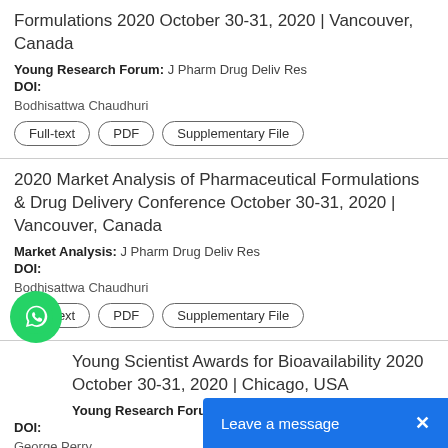Formulations 2020 October 30-31, 2020 | Vancouver, Canada
Young Research Forum: J Pharm Drug Deliv Res
DOI:
Bodhisattwa Chaudhuri
Full-text  PDF  Supplementary File
2020 Market Analysis of Pharmaceutical Formulations & Drug Delivery Conference October 30-31, 2020 | Vancouver, Canada
Market Analysis: J Pharm Drug Deliv Res
DOI:
Bodhisattwa Chaudhuri
Full-text  PDF  Supplementary File
Young Scientist Awards for Bioavailability 2020 October 30-31, 2020 | Chicago, USA
Young Research Forum: J Pharm Drug Deliv Res
DOI:
George Perry